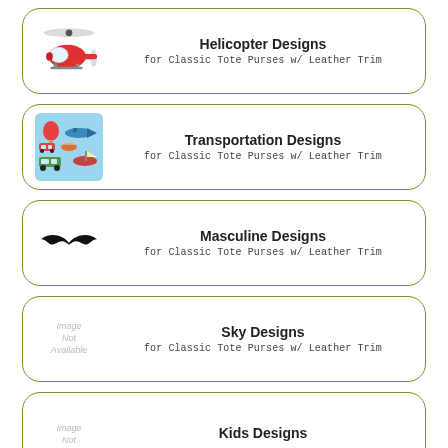[Figure (illustration): Red cartoon helicopter illustration]
Helicopter Designs
for Classic Tote Purses w/ Leather Trim
[Figure (illustration): Colorful transportation cartoon pattern with vehicles, trains, planes]
Transportation Designs
for Classic Tote Purses w/ Leather Trim
[Figure (illustration): Black mustache illustration]
Masculine Designs
for Classic Tote Purses w/ Leather Trim
[Figure (illustration): Image Not Available placeholder]
Sky Designs
for Classic Tote Purses w/ Leather Trim
[Figure (illustration): Image Not Available placeholder]
Kids Designs